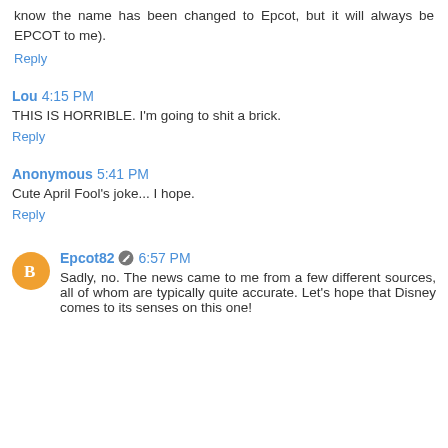know the name has been changed to Epcot, but it will always be EPCOT to me).
Reply
Lou  4:15 PM
THIS IS HORRIBLE. I'm going to shit a brick.
Reply
Anonymous  5:41 PM
Cute April Fool's joke... I hope.
Reply
Epcot82  6:57 PM
Sadly, no. The news came to me from a few different sources, all of whom are typically quite accurate. Let's hope that Disney comes to its senses on this one!